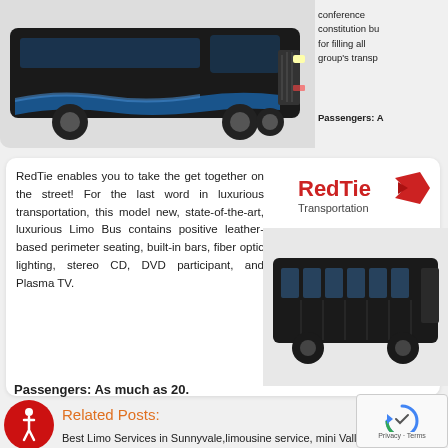[Figure (photo): Large black limousine party bus, side view, with blue flame graphics on the side]
conference constitution bu for filling all group's transp
Passengers: A
RedTie enables you to take the get together on the street! For the last word in luxurious transportation, this model new, state-of-the-art, luxurious Limo Bus contains positive leather-based perimeter seating, built-in bars, fiber optic lighting, stereo CD, DVD participant, and Plasma TV.
[Figure (logo): RedTie Transportation logo with red ribbon/bowtie icon]
[Figure (photo): Small black limo bus, side/rear angle view]
Passengers: As much as 20.
Related Posts:
Best Limo Services in Sunnyvale, limousine service, mini valley,
[Figure (other): Accessibility icon - wheelchair symbol in red circle]
[Figure (other): reCAPTCHA privacy widget]